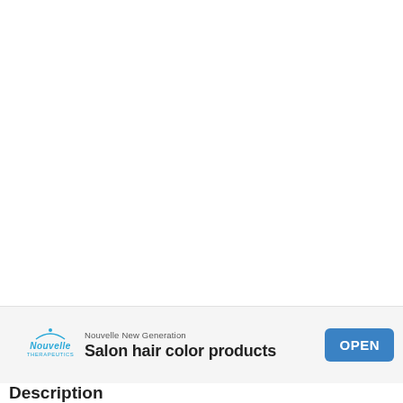[Figure (screenshot): Large white blank area occupying the top portion of the page, representing empty web content above an advertisement banner]
Nouvelle New Generation
Salon hair color products
OPEN
Description